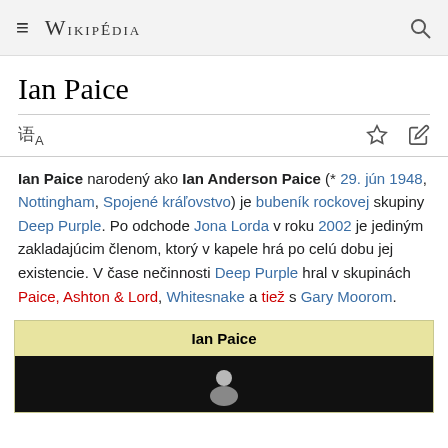≡ WIKIPÉDIA 🔍
Ian Paice
Ian Paice narodený ako Ian Anderson Paice (* 29. jún 1948, Nottingham, Spojené kráľovstvo) je bubeník rockovej skupiny Deep Purple. Po odchode Jona Lorda v roku 2002 je jediným zakladajúcim členom, ktorý v kapele hrá po celú dobu jej existencie. V čase nečinnosti Deep Purple hral v skupinách Paice, Ashton & Lord, Whitesnake a tiež s Gary Moorom.
| Ian Paice |
| --- |
| [photo] |